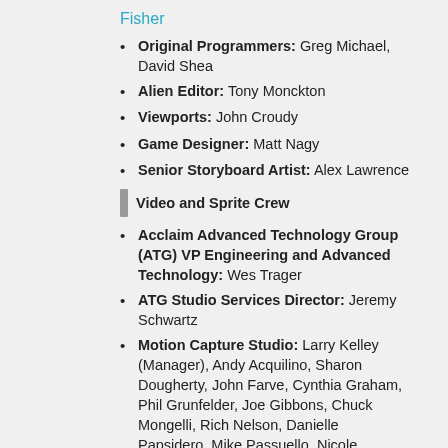Fisher
Original Programmers: Greg Michael, David Shea
Alien Editor: Tony Monckton
Viewports: John Croudy
Game Designer: Matt Nagy
Senior Storyboard Artist: Alex Lawrence
Video and Sprite Crew
Acclaim Advanced Technology Group (ATG) VP Engineering and Advanced Technology: Wes Trager
ATG Studio Services Director: Jeremy Schwartz
Motion Capture Studio: Larry Kelley (Manager), Andy Acquilino, Sharon Dougherty, John Farve, Cynthia Graham, Phil Grunfelder, Joe Gibbons, Chuck Mongelli, Rich Nelson, Danielle Papsidero, Mike Passuello, Nicole Scharff, Brian Windsor
Digital Production Crew: ...